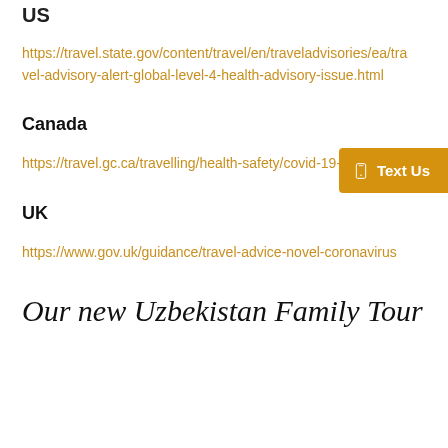US
https://travel.state.gov/content/travel/en/traveladvisories/ea/travel-advisory-alert-global-level-4-health-advisory-issue.html
Canada
https://travel.gc.ca/travelling/health-safety/covid-19-security
UK
https://www.gov.uk/guidance/travel-advice-novel-coronavirus
Our new Uzbekistan Family Tour